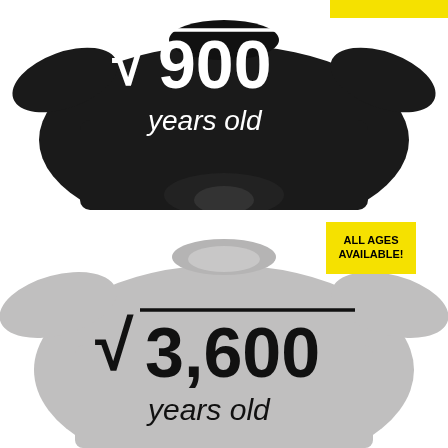[Figure (photo): Black t-shirt with white text showing square root of 900 years old printed on it, tied at the bottom]
[Figure (photo): Gray t-shirt with black text showing square root of 3,600 years old printed on it, with yellow banner in top right corner reading ALL AGES AVAILABLE!]